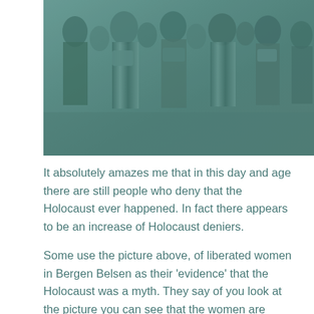[Figure (photo): Black and white photograph with teal/green tint showing a group of women, some wearing striped prisoner uniforms, holding bundles, identified as liberated women in Bergen Belsen concentration camp.]
It absolutely amazes me that in this day and age there are still people who deny that the Holocaust ever happened. In fact there appears to be an increase of Holocaust deniers.
Some use the picture above, of liberated women in Bergen Belsen as their 'evidence' that the Holocaust was a myth. They say of you look at the picture you can see that the women are healthy and seem to be happy. Well of course they were happy, they had just been liberated and they